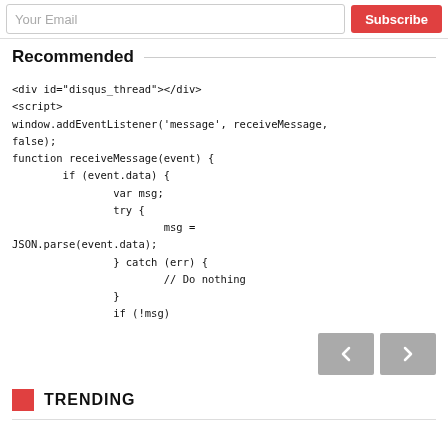Your Email (input) | Subscribe (button)
Recommended
<div id="disqus_thread"></div>
<script>
window.addEventListener('message', receiveMessage,
false);
function receiveMessage(event) {
        if (event.data) {
                var msg;
                try {
                        msg =
JSON.parse(event.data);
                } catch (err) {
                        // Do nothing
                }
                if (!msg)
← →  (navigation buttons)
TRENDING